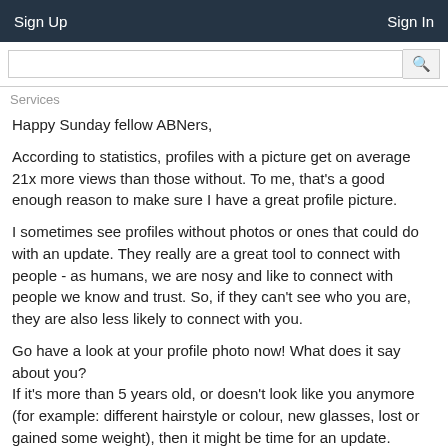Sign Up    Sign In
Services
Happy Sunday fellow ABNers,
According to statistics, profiles with a picture get on average 21x more views than those without. To me, that's a good enough reason to make sure I have a great profile picture.
I sometimes see profiles without photos or ones that could do with an update. They really are a great tool to connect with people - as humans, we are nosy and like to connect with people we know and trust. So, if they can't see who you are, they are also less likely to connect with you.
Go have a look at your profile photo now! What does it say about you?
If it's more than 5 years old, or doesn't look like you anymore (for example: different hairstyle or colour, new glasses, lost or gained some weight), then it might be time for an update.
Here are my top tips for a great profile photo: